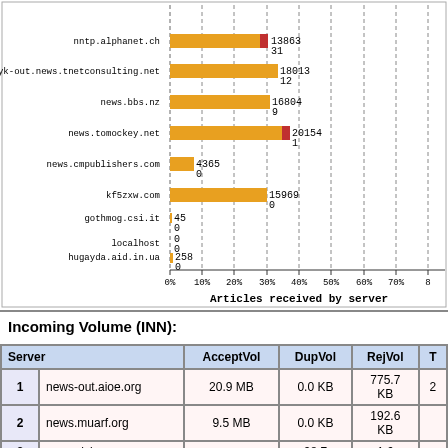[Figure (bar-chart): Articles received by server]
Incoming Volume (INN):
|  | Server | AcceptVol | DupVol | RejVol | T |
| --- | --- | --- | --- | --- | --- |
| 1 | news-out.aioe.org | 20.9 MB | 0.0 KB | 775.7 KB | 2 |
| 2 | news.muarf.org | 9.5 MB | 0.0 KB | 192.6 KB |  |
| 3 | samoylyk... |  | 28.7 | 1.6 |  |